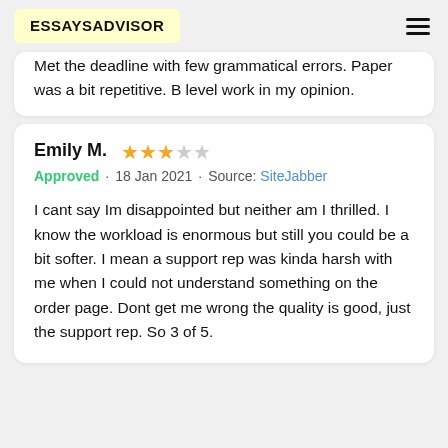ESSAYSADVISOR
Met the deadline with few grammatical errors. Paper was a bit repetitive. B level work in my opinion.
Emily M. ★★★☆☆  Approved · 18 Jan 2021 · Source: SiteJabber
I cant say Im disappointed but neither am I thrilled. I know the workload is enormous but still you could be a bit softer. I mean a support rep was kinda harsh with me when I could not understand something on the order page. Dont get me wrong the quality is good, just the support rep. So 3 of 5.